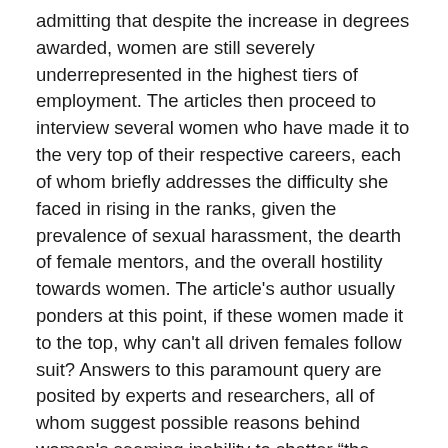admitting that despite the increase in degrees awarded, women are still severely underrepresented in the highest tiers of employment. The articles then proceed to interview several women who have made it to the very top of their respective careers, each of whom briefly addresses the difficulty she faced in rising in the ranks, given the prevalence of sexual harassment, the dearth of female mentors, and the overall hostility towards women. The article's author usually ponders at this point, if these women made it to the top, why can't all driven females follow suit? Answers to this paramount query are posited by experts and researchers, all of whom suggest possible reasons behind women's seeming inability to shatter “the glass ceiling” of these corporate (and other) structures. The experts blame gender roles, the lacking flexibility given to new mothers, and the need for a restructuring of family life. The roadmap to this breed of article is flawless. It is perfectly tailored to inform the reader of the current state of affairs for professional women, and to suggest why these obstacles still exist, in an age where equality should be the norm. However, each time